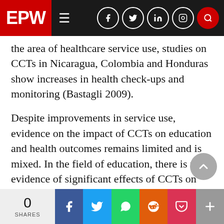EPW
the area of healthcare service use, studies on CCTs in Nicaragua, Colombia and Honduras show increases in health check-ups and monitoring (Bastagli 2009).
Despite improvements in service use, evidence on the impact of CCTs on education and health outcomes remains limited and is mixed. In the field of education, there is no evidence of significant effects of CCTs on learning. For Mexico, Behrman et al (2005) show that CCTs have a positive impact on grades of schooling attained but no effects on achievement tests.
0 SHARES | Share on Facebook | Share on Twitter | Share on WhatsApp | Share on Reddit | Share on Pocket | More